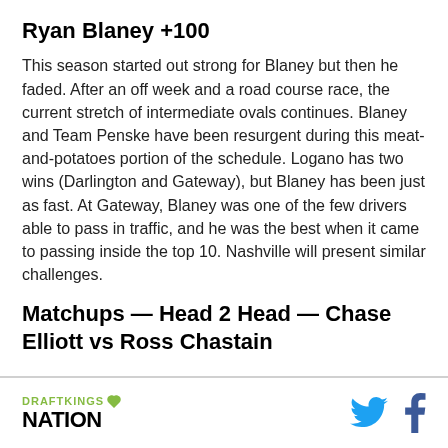Ryan Blaney +100
This season started out strong for Blaney but then he faded. After an off week and a road course race, the current stretch of intermediate ovals continues. Blaney and Team Penske have been resurgent during this meat-and-potatoes portion of the schedule. Logano has two wins (Darlington and Gateway), but Blaney has been just as fast. At Gateway, Blaney was one of the few drivers able to pass in traffic, and he was the best when it came to passing inside the top 10. Nashville will present similar challenges.
Matchups — Head 2 Head — Chase Elliott vs Ross Chastain
DRAFTKINGS NATION